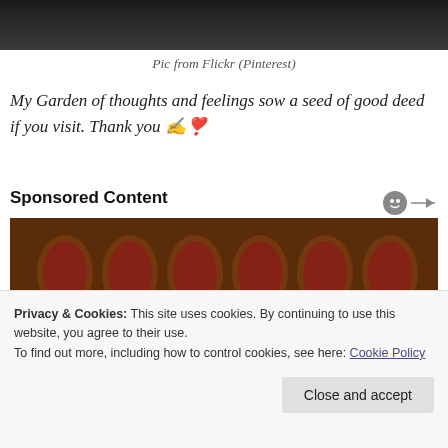[Figure (photo): Dark photo at top of page, partially visible]
Pic from Flickr (Pinterest)
My Garden of thoughts and feelings sow a seed of good deed if you visit. Thank you ✍️❣️
Sponsored Content
[Figure (photo): Interior of a grand ornate theater or parliament hall with red seats filled with people, viewed from above at an angle]
Privacy & Cookies: This site uses cookies. By continuing to use this website, you agree to their use.
To find out more, including how to control cookies, see here: Cookie Policy
Close and accept